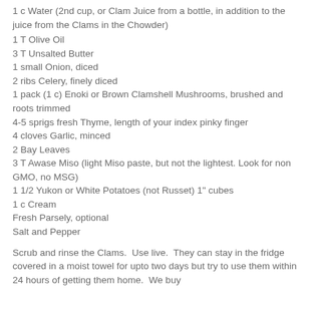1 c Water (2nd cup, or Clam Juice from a bottle, in addition to the juice from the Clams in the Chowder)
1 T Olive Oil
3 T Unsalted Butter
1 small Onion, diced
2 ribs Celery, finely diced
1 pack (1 c) Enoki or Brown Clamshell Mushrooms, brushed and roots trimmed
4-5 sprigs fresh Thyme, length of your index pinky finger
4 cloves Garlic, minced
2 Bay Leaves
3 T Awase Miso (light Miso paste, but not the lightest. Look for non GMO, no MSG)
1 1/2 Yukon or White Potatoes (not Russet) 1" cubes
1 c Cream
Fresh Parsely, optional
Salt and Pepper
Scrub and rinse the Clams.  Use live.  They can stay in the fridge covered in a moist towel for upto two days but try to use them within 24 hours of getting them home.  We buy our at To Tri their local Fish section.  We use six